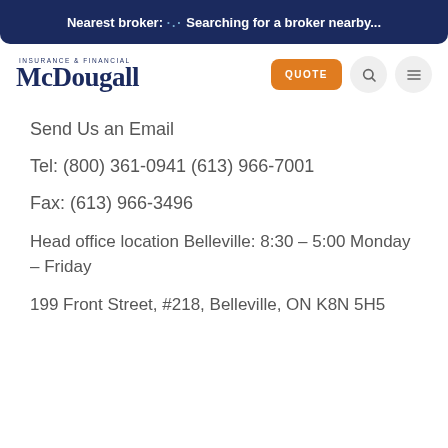Nearest broker: ⠿ Searching for a broker nearby...
[Figure (logo): McDougall Insurance & Financial logo with navy blue text]
Send Us an Email
Tel: (800) 361-0941 (613) 966-7001
Fax: (613) 966-3496
Head office location Belleville: 8:30 – 5:00 Monday – Friday
199 Front Street, #218, Belleville, ON K8N 5H5